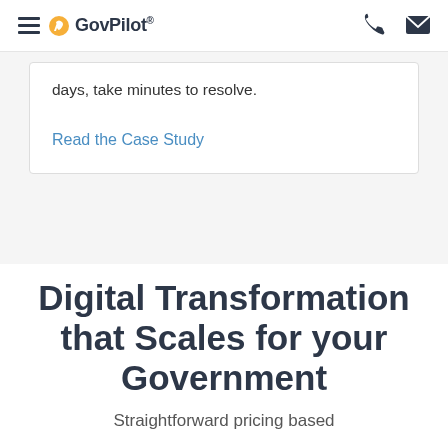GovPilot®
days, take minutes to resolve.
Read the Case Study
Digital Transformation that Scales for your Government
Straightforward pricing based